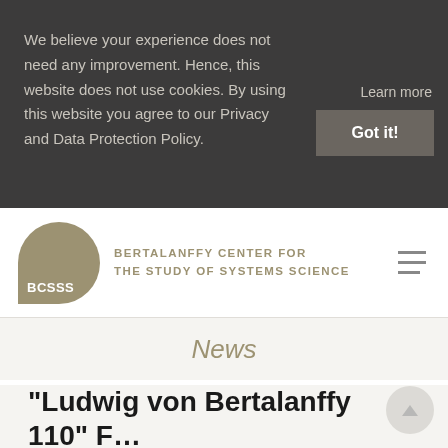We believe your experience does not need any improvement. Hence, this website does not use cookies. By using this website you agree to our Privacy and Data Protection Policy.
Learn more
Got it!
[Figure (logo): BCSSS logo — olive/khaki circle with text 'BCSSS' inside, next to 'BERTALANFFY CENTER FOR THE STUDY OF SYSTEMS SCIENCE' in uppercase olive lettering, with hamburger menu icon on right]
News
“Ludwig von Bertalanffy 110” F…